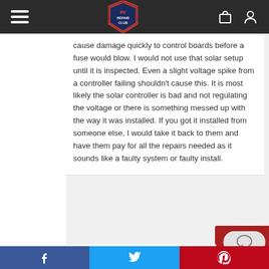RV Repair Club navigation bar
cause damage quickly to control boards before a fuse would blow. I would not use that solar setup until it is inspected. Even a slight voltage spike from a controller failing shouldn’t cause this. It is most likely the solar controller is bad and not regulating the voltage or there is something messed up with the way it was installed. If you got it installed from someone else, I would take it back to them and have them pay for all the repairs needed as it sounds like a faulty system or faulty install.
Robert
f  Twitter bird  p